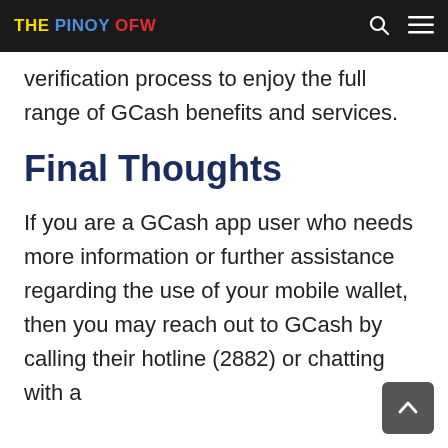THE PINOY OFW
verification process to enjoy the full range of GCash benefits and services.
Final Thoughts
If you are a GCash app user who needs more information or further assistance regarding the use of your mobile wallet, then you may reach out to GCash by calling their hotline (2882) or chatting with a